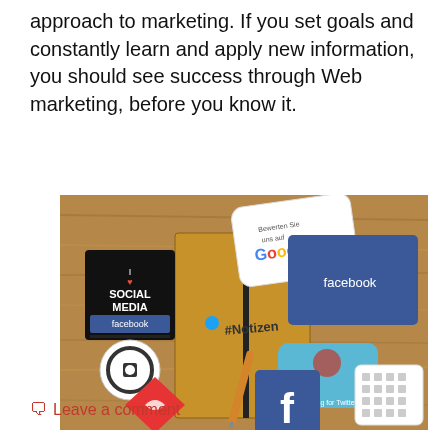approach to marketing. If you set goals and constantly learn and apply new information, you should see success through Web marketing, before you know it.
[Figure (photo): A flat-lay photograph on a wooden table showing a kraft paper notebook with '#Notizen' written on it and a pen, surrounded by social media stickers and cards including Facebook, Google review card, 'I Love Social Media' sticker, a Twitter card, a Facebook logo sticker, a red logo sticker, a circular logo sticker, and a small icon card.]
Leave a comment